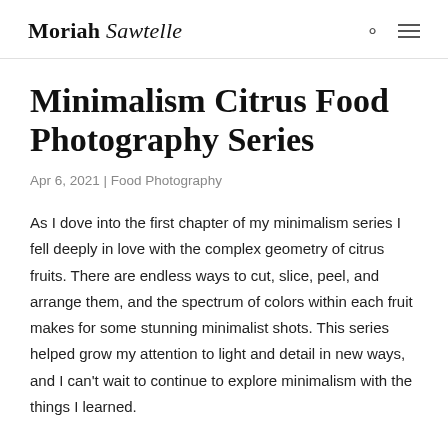Moriah Sawtelle
Minimalism Citrus Food Photography Series
Apr 6, 2021 | Food Photography
As I dove into the first chapter of my minimalism series I fell deeply in love with the complex geometry of citrus fruits. There are endless ways to cut, slice, peel, and arrange them, and the spectrum of colors within each fruit makes for some stunning minimalist shots. This series helped grow my attention to light and detail in new ways, and I can't wait to continue to explore minimalism with the things I learned.